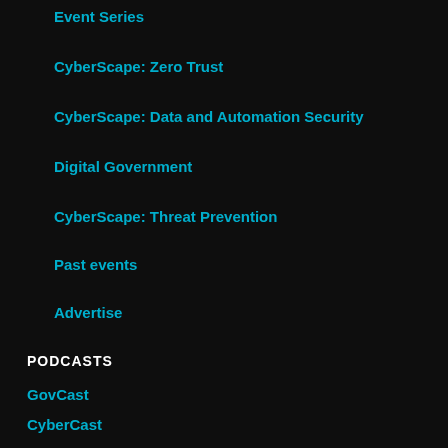Event Series
CyberScape: Zero Trust
CyberScape: Data and Automation Security
Digital Government
CyberScape: Threat Prevention
Past events
Advertise
PODCASTS
GovCast
CyberCast
HealthCast
The Agile Advocate
ADVERTISE